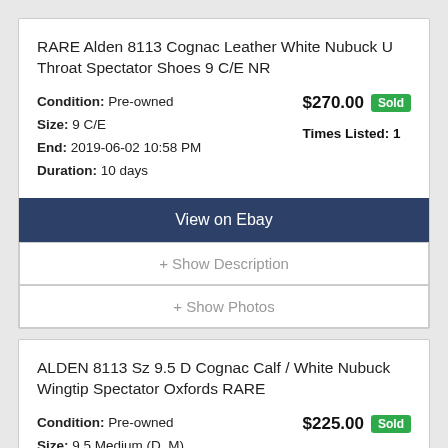RARE Alden 8113 Cognac Leather White Nubuck U Throat Spectator Shoes 9 C/E NR
Condition: Pre-owned
Size: 9 C/E
End: 2019-06-02 10:58 PM
Duration: 10 days
$270.00 Sold
Times Listed: 1
View on Ebay
+ Show Description
+ Show Photos
ALDEN 8113 Sz 9.5 D Cognac Calf / White Nubuck Wingtip Spectator Oxfords RARE
Condition: Pre-owned
Size: 9.5 Medium (D, M)
$225.00 Sold
Times Listed: 1